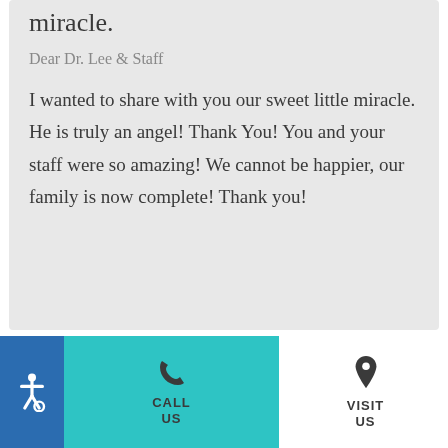miracle.
Dear Dr. Lee & Staff
I wanted to share with you our sweet little miracle. He is truly an angel! Thank You! You and your staff were so amazing! We cannot be happier, our family is now complete! Thank you!
[Figure (infographic): Footer with accessibility icon (blue background), call button (teal background) with phone icon and CALL US label, and visit button with map pin icon and VISIT US label]